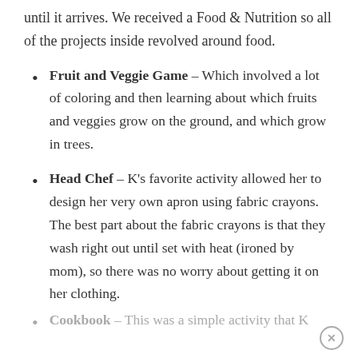until it arrives. We received a Food & Nutrition so all of the projects inside revolved around food.
Fruit and Veggie Game – Which involved a lot of coloring and then learning about which fruits and veggies grow on the ground, and which grow in trees.
Head Chef – K's favorite activity allowed her to design her very own apron using fabric crayons. The best part about the fabric crayons is that they wash right out until set with heat (ironed by mom), so there was no worry about getting it on her clothing.
Cookbook – This was a simple activity that K